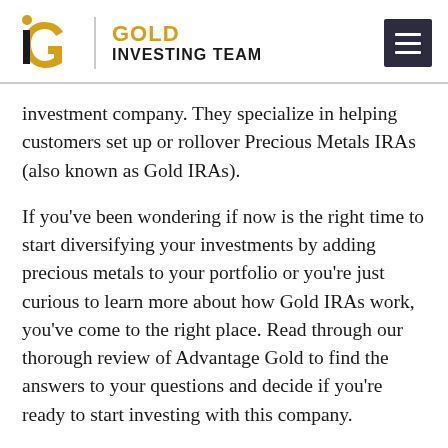Gold Investing Team
investment company. They specialize in helping customers set up or rollover Precious Metals IRAs (also known as Gold IRAs).
If you've been wondering if now is the right time to start diversifying your investments by adding precious metals to your portfolio or you're just curious to learn more about how Gold IRAs work, you've come to the right place. Read through our thorough review of Advantage Gold to find the answers to your questions and decide if you're ready to start investing with this company.